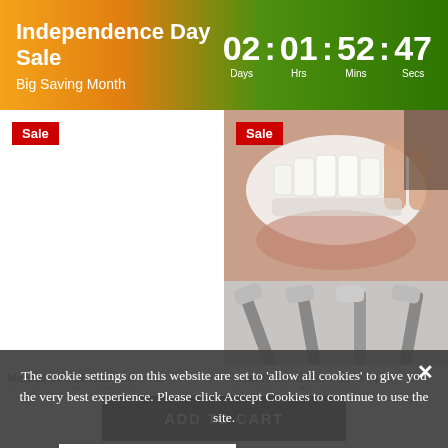Independence Day Sale | Big Saving Month | 02 : 01 : 52 : 47 Days Hrs Mins Secs
[Figure (photo): Right product: dental silicone veneer being fitted onto teeth, close-up photo]
Sale
Sale
Maxbell Soft Silicone Dent... Rs. 847.00  Rs. 421.00
Maxbell Soft Silicone Denti... Rs. 842.00  Rs. 421.00
The cookie settings on this website are set to 'allow all cookies' to give you the very best experience. Please click Accept Cookies to continue to use the site.
ACCEPT COOKIES
PRIVACY POLICY
ADD TO CART